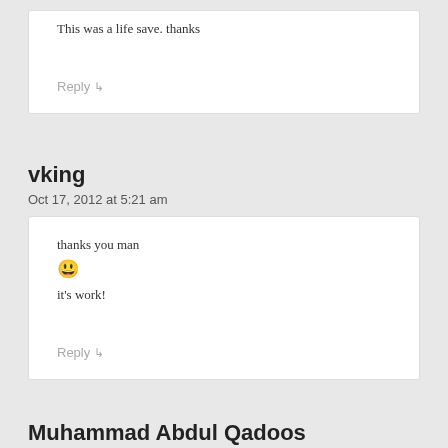This was a life save. thanks
Reply ↴
vking
Oct 17, 2012 at 5:21 am
thanks you man 😀 it's work!
Reply ↴
Muhammad Abdul Qadoos